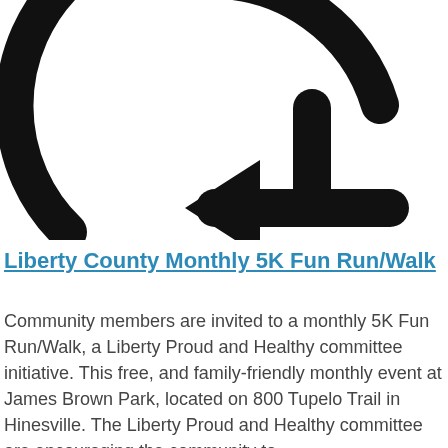[Figure (other): A circular refresh/reload arrow icon — a large circular arc with an arrow pointing left at the bottom, rendered in black on white background. The icon is partially cropped at the top and sides.]
Liberty County Monthly 5K Fun Run/Walk
Community members are invited to a monthly 5K Fun Run/Walk, a Liberty Proud and Healthy committee initiative. This free, and family-friendly monthly event at James Brown Park, located on 800 Tupelo Trail in Hinesville. The Liberty Proud and Healthy committee are encouraging the community to...